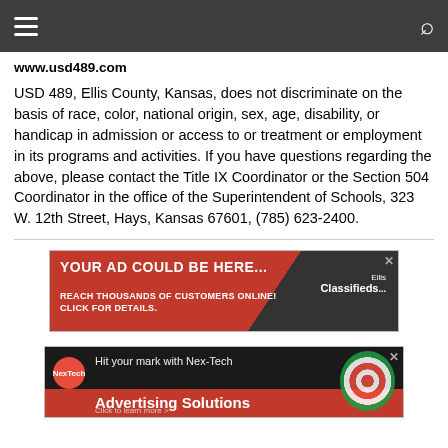Navigation bar with hamburger menu and search icon
www.usd489.com
USD 489, Ellis County, Kansas, does not discriminate on the basis of race, color, national origin, sex, age, disability, or handicap in admission or access to or treatment or employment in its programs and activities. If you have questions regarding the above, please contact the Title IX Coordinator or the Section 504 Coordinator in the office of the Superintendent of Schools, 323 W. 12th Street, Hays, Kansas 67601, (785) 623-2400.
[Figure (screenshot): Advertisement: YOUR AD COULD BE HERE... REACH THOUSANDS OF CUSTOMERS ONLINE! CLICK FOR DETAILS. Ellis Classifieds]
[Figure (screenshot): Advertisement: Hit your mark with Nex-Tech Advertising Solutions - Click to learn more]